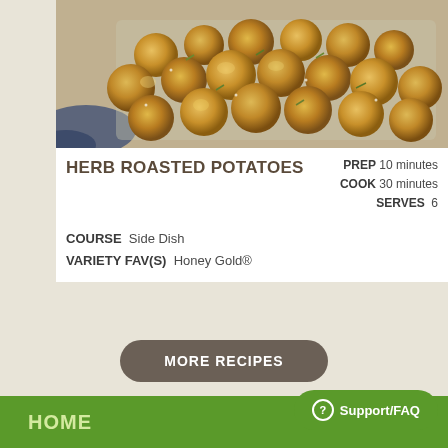[Figure (photo): Herb roasted baby potatoes on a baking tray with herbs, golden brown color]
HERB ROASTED POTATOES
PREP 10 minutes
COOK 30 minutes
SERVES 6
COURSE  Side Dish
VARIETY FAV(S)  Honey Gold®
MORE RECIPES
Support/FAQ
HOME